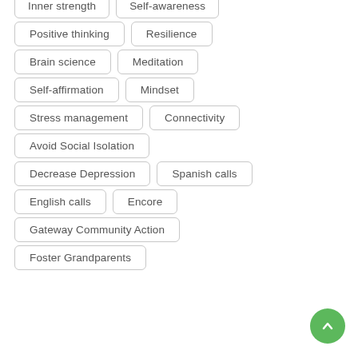Inner strength
Self-awareness
Positive thinking
Resilience
Brain science
Meditation
Self-affirmation
Mindset
Stress management
Connectivity
Avoid Social Isolation
Decrease Depression
Spanish calls
English calls
Encore
Gateway Community Action
Foster Grandparents